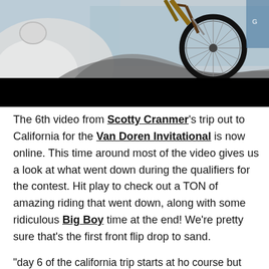[Figure (photo): Close-up photo of a BMX bike wheel and rider performing a trick, with artistic illustrated/painted background in blue and grey tones. Lower portion of image covered by a solid black bar.]
The 6th video from Scotty Cranmer's trip out to California for the Van Doren Invitational is now online. This time around most of the video gives us a look at what went down during the qualifiers for the contest. Hit play to check out a TON of amazing riding that went down, along with some ridiculous Big Boy time at the end! We're pretty sure that's the first front flip drop to sand.
"day 6 of the california trip starts at ho course but this time